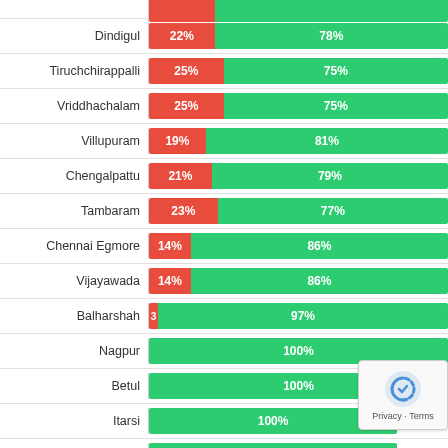[Figure (stacked-bar-chart): Station-wise electrification status (partial view)]